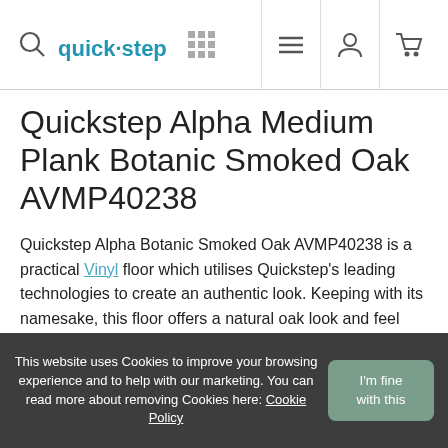quick-step [navigation icons: search, grid, menu, user, cart]
Quickstep Alpha Medium Plank Botanic Smoked Oak AVMP40238
Quickstep Alpha Botanic Smoked Oak AVMP40238 is a practical Vinyl floor which utilises Quickstep’s leading technologies to create an authentic look. Keeping with its namesake, this floor offers a natural oak look and feel with a delightful smoked finish. The rich colouring brings the look well within reach of real wood.
Packed full of practical features and backed by a 25-year
This website uses Cookies to improve your browsing experience and to help with our marketing. You can read more about removing Cookies here: Cookie Policy  |  I’m fine with this